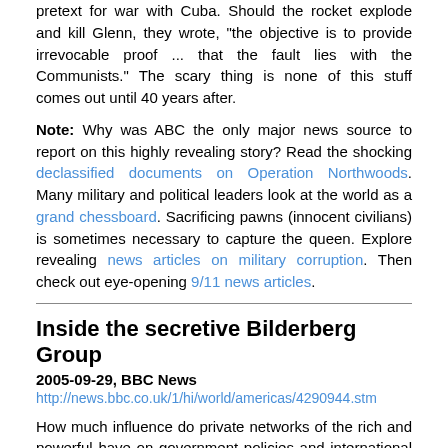pretext for war with Cuba. Should the rocket explode and kill Glenn, they wrote, "the objective is to provide irrevocable proof ... that the fault lies with the Communists." The scary thing is none of this stuff comes out until 40 years after.
Note: Why was ABC the only major news source to report on this highly revealing story? Read the shocking declassified documents on Operation Northwoods. Many military and political leaders look at the world as a grand chessboard. Sacrificing pawns (innocent civilians) is sometimes necessary to capture the queen. Explore revealing news articles on military corruption. Then check out eye-opening 9/11 news articles.
Inside the secretive Bilderberg Group
2005-09-29, BBC News
http://news.bbc.co.uk/1/hi/world/americas/4290944.stm
How much influence do private networks of the rich and powerful have on government policies and international relations? One group, the Bilderberg, has often attracted speculation that it forms a shadowy global government.